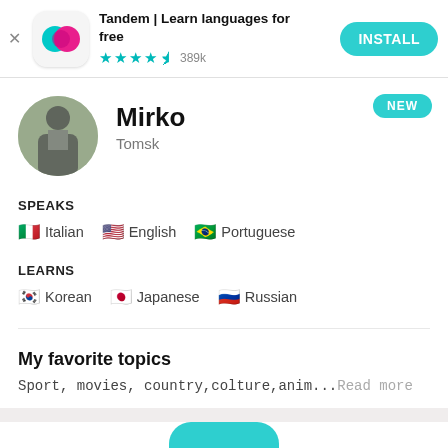[Figure (screenshot): Tandem app advertisement banner with app icon, title, star rating, and install button]
Mirko
Tomsk
SPEAKS
Italian  English  Portuguese
LEARNS
Korean  Japanese  Russian
My favorite topics
Sport, movies, country,colture,anim...Read more